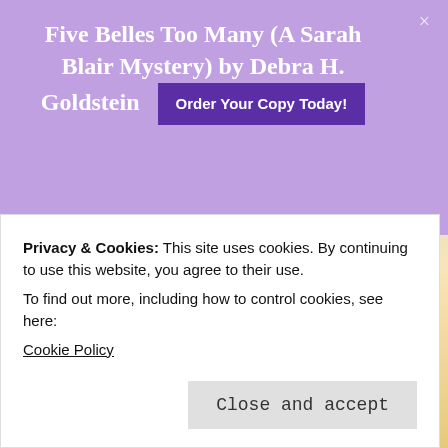Five Belles Too Many (A Sarah Blair Mystery) by Debra H. Goldstein | Order Your Copy Today!
And the winners are...
Betty C.
Privacy & Cookies: This site uses cookies. By continuing to use this website, you agree to their use.
To find out more, including how to control cookies, see here: Cookie Policy
Close and accept